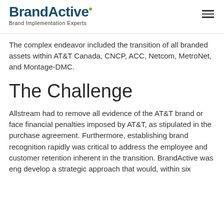BrandActive — Brand Implementation Experts
The complex endeavor included the transition of all branded assets within AT&T Canada, CNCP, ACC, Netcom, MetroNet, and Montage-DMC.
The Challenge
Allstream had to remove all evidence of the AT&T brand or face financial penalties imposed by AT&T, as stipulated in the purchase agreement. Furthermore, establishing brand recognition rapidly was critical to address the employee and customer retention inherent in the transition. BrandActive was eng develop a strategic approach that would, within six